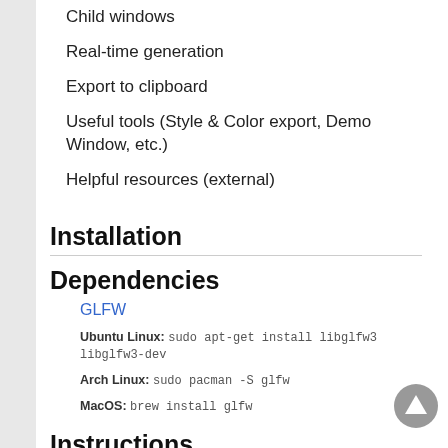Child windows
Real-time generation
Export to clipboard
Useful tools (Style & Color export, Demo Window, etc.)
Helpful resources (external)
Installation
Dependencies
GLFW
Ubuntu Linux: sudo apt-get install libglfw3 libglfw3-dev
Arch Linux: sudo pacman -S glfw
MacOS: brew install glfw
Instructions